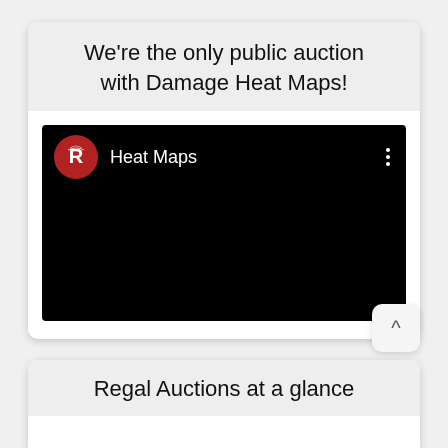We're the only public auction with Damage Heat Maps!
[Figure (screenshot): Black video player thumbnail with Regal Auctions red circle logo and 'Heat Maps' title text on dark background, with vertical dots menu icon in top right]
Regal Auctions at a glance